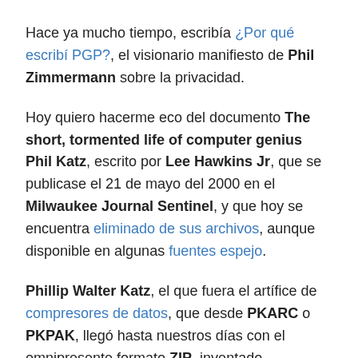Hace ya mucho tiempo, escribía ¿Por qué escribí PGP?, el visionario manifiesto de Phil Zimmermann sobre la privacidad.
Hoy quiero hacerme eco del documento The short, tormented life of computer genius Phil Katz, escrito por Lee Hawkins Jr, que se publicase el 21 de mayo del 2000 en el Milwaukee Journal Sentinel, y que hoy se encuentra eliminado de sus archivos, aunque disponible en algunas fuentes espejo.
Phillip Walter Katz, el que fuera el artífice de compresores de datos, que desde PKARC o PKPAK, llegó hasta nuestros días con el omnipresente formato ZIP, inventado originalmente por él en PKZIP, y lo que fuera su compañía: PKWare.